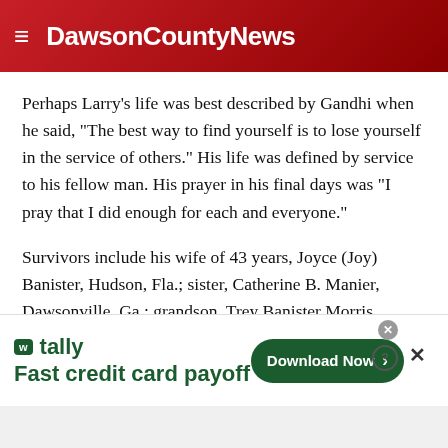DawsonCountyNews
Perhaps Larry’s life was best described by Gandhi when he said, “The best way to find yourself is to lose yourself in the service of others.” His life was defined by service to his fellow man. His prayer in his final days was “I pray that I did enough for each and everyone.”
Survivors include his wife of 43 years, Joyce (Joy) Banister, Hudson, Fla.; sister, Catherine B. Manier, Dawsonville, Ga.; grandson, Trey Banister Morris, Cleveland, Ga.; best-friends,
[Figure (other): Tally advertisement banner: Fast credit card payoff. Download Now button.]